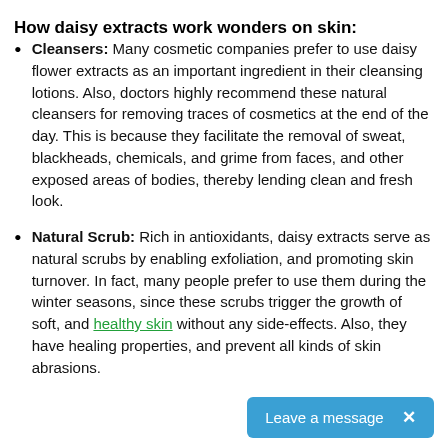How daisy extracts work wonders on skin:
Cleansers: Many cosmetic companies prefer to use daisy flower extracts as an important ingredient in their cleansing lotions. Also, doctors highly recommend these natural cleansers for removing traces of cosmetics at the end of the day. This is because they facilitate the removal of sweat, blackheads, chemicals, and grime from faces, and other exposed areas of bodies, thereby lending clean and fresh look.
Natural Scrub: Rich in antioxidants, daisy extracts serve as natural scrubs by enabling exfoliation, and promoting skin turnover. In fact, many people prefer to use them during the winter seasons, since these scrubs trigger the growth of soft, and healthy skin without any side-effects. Also, they have healing properties, and prevent all kinds of skin abrasions.